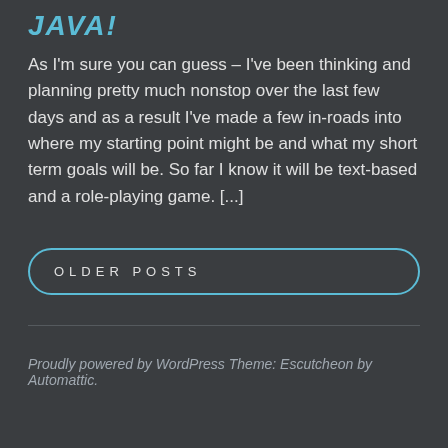JAVA!
As I'm sure you can guess – I've been thinking and planning pretty much nonstop over the last few days and as a result I've made a few in-roads into where my starting point might be and what my short term goals will be. So far I know it will be text-based and a role-playing game. [...]
OLDER POSTS
Proudly powered by WordPress Theme: Escutcheon by Automattic.